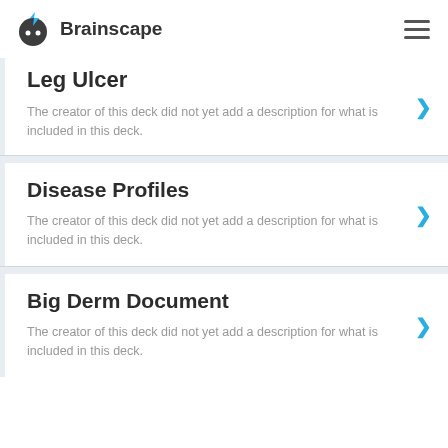Brainscape
Leg Ulcer
The creator of this deck did not yet add a description for what is included in this deck.
Disease Profiles
The creator of this deck did not yet add a description for what is included in this deck.
Big Derm Document
The creator of this deck did not yet add a description for what is included in this deck.